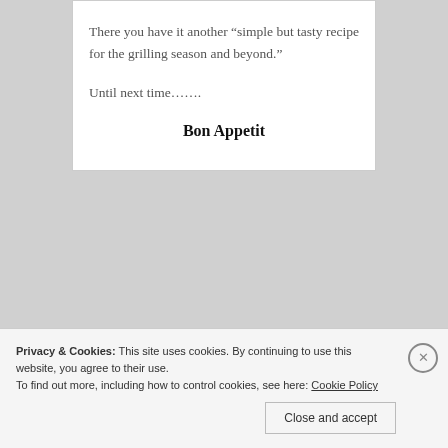There you have it another “simple but tasty recipe for the grilling season and beyond.”
Until next time…….
Bon Appetit
Privacy & Cookies: This site uses cookies. By continuing to use this website, you agree to their use.
To find out more, including how to control cookies, see here: Cookie Policy
Close and accept